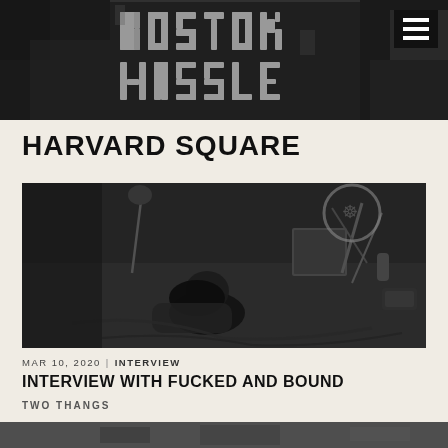[Figure (logo): Boston Hassle graffiti-style logo banner in black and white]
HARVARD SQUARE
[Figure (photo): Black and white photo of a person lying on the floor surrounded by music equipment, cables, and hardware]
MAR 10, 2020 | INTERVIEW
INTERVIEW WITH FUCKED AND BOUND
TWO THANGS
[Figure (photo): Partial bottom strip of another article image]